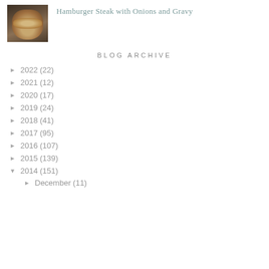[Figure (photo): Thumbnail photo of hamburger steak with onions, stacked patties on a dark background]
Hamburger Steak with Onions and Gravy
BLOG ARCHIVE
► 2022 (22)
► 2021 (12)
► 2020 (17)
► 2019 (24)
► 2018 (41)
► 2017 (95)
► 2016 (107)
► 2015 (139)
▼ 2014 (151)
► December (11)